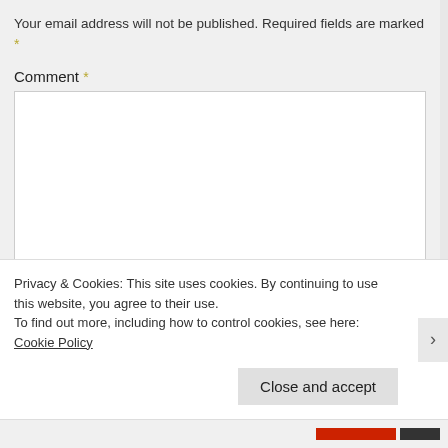Your email address will not be published. Required fields are marked *
Comment *
[Figure (other): Comment textarea input field (empty)]
Name *
Privacy & Cookies: This site uses cookies. By continuing to use this website, you agree to their use.
To find out more, including how to control cookies, see here: Cookie Policy
Close and accept